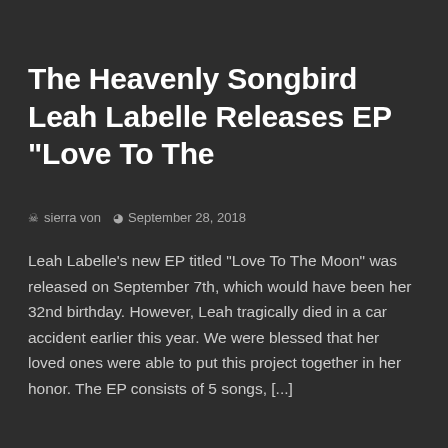The Heavenly Songbird Leah Labelle Releases EP “Love To The
sierra von   September 28, 2018
Leah Labelle’s new EP titled “Love To The Moon” was released on September 7th, which would have been her 32nd birthday. However, Leah tragically died in a car accident earlier this year. We were blessed that her loved ones were able to put this project together in her honor. The EP consists of 5 songs, [...]